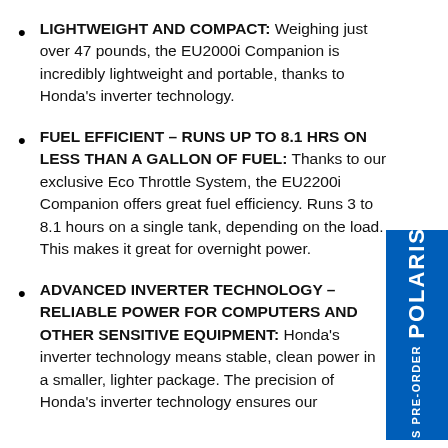LIGHTWEIGHT AND COMPACT: Weighing just over 47 pounds, the EU2000i Companion is incredibly lightweight and portable, thanks to Honda's inverter technology.
FUEL EFFICIENT – RUNS UP TO 8.1 HRS ON LESS THAN A GALLON OF FUEL: Thanks to our exclusive Eco Throttle System, the EU2200i Companion offers great fuel efficiency. Runs 3 to 8.1 hours on a single tank, depending on the load. This makes it great for overnight power.
ADVANCED INVERTER TECHNOLOGY – RELIABLE POWER FOR COMPUTERS AND OTHER SENSITIVE EQUIPMENT: Honda's inverter technology means stable, clean power in a smaller, lighter package. The precision of Honda's inverter technology ensures our